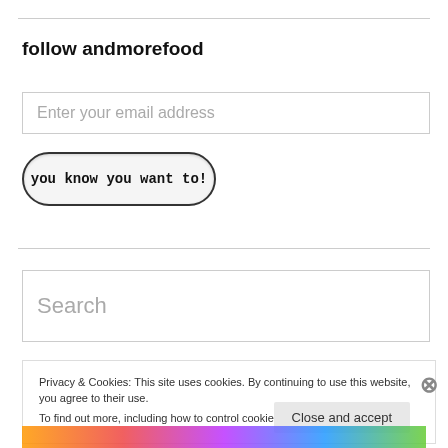follow andmorefood
Enter your email address
you know you want to!
Search
Privacy & Cookies: This site uses cookies. By continuing to use this website, you agree to their use.
To find out more, including how to control cookies, see here: Cookie Policy
Close and accept